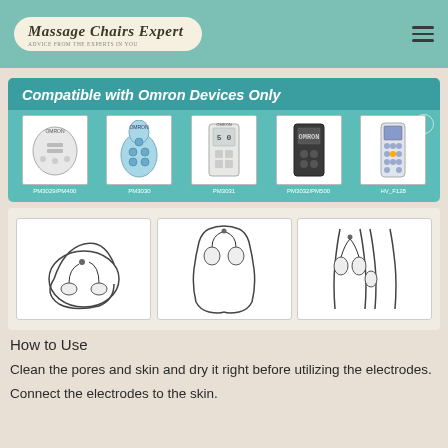Massage Chairs Expert
[Figure (infographic): Banner showing 'Compatible with Omron Devices Only' with images of five Omron TENS devices: PM3029/PM400, PM3030, PM3031, PM3032/PM500, HV_F128]
[Figure (illustration): Three instructional diagrams showing how to attach and place TENS electrode pads on the body (arm/elbow, shoulder/back, and knee areas)]
How to Use
Clean the pores and skin and dry it right before utilizing the electrodes.
Connect the electrodes to the skin.